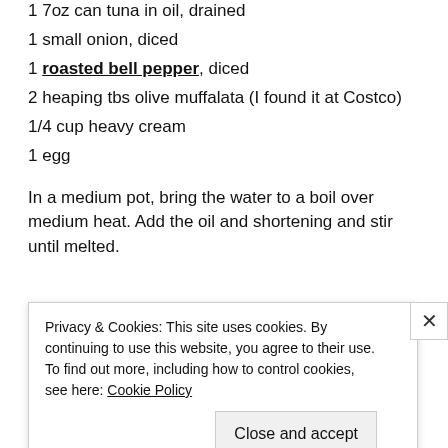1 7oz can tuna in oil, drained
1 small onion, diced
1 roasted bell pepper, diced
2 heaping tbs olive muffalata (I found it at Costco)
1/4 cup heavy cream
1 egg
In a medium pot, bring the water to a boil over medium heat. Add the oil and shortening and stir until melted.
Privacy & Cookies: This site uses cookies. By continuing to use this website, you agree to their use.
To find out more, including how to control cookies, see here: Cookie Policy